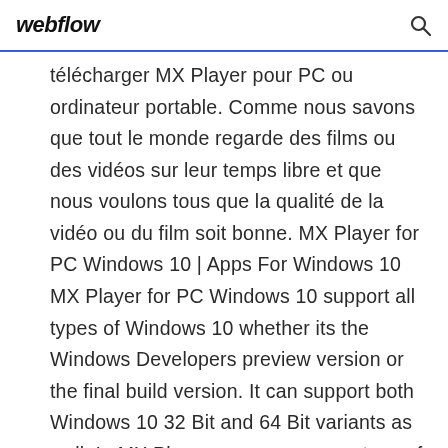webflow [search icon]
télécharger MX Player pour PC ou ordinateur portable. Comme nous savons que tout le monde regarde des films ou des vidéos sur leur temps libre et que nous voulons tous que la qualité de la vidéo ou du film soit bonne. MX Player for PC Windows 10 | Apps For Windows 10 MX Player for PC Windows 10 support all types of Windows 10 whether its the Windows Developers preview version or the final build version. It can support both Windows 10 32 Bit and 64 Bit variants as well. In MX Player you can run any type of video in the best HD Quality or even the ones with the lower quality. This player has been regarded as the most downloaded player on smartphones